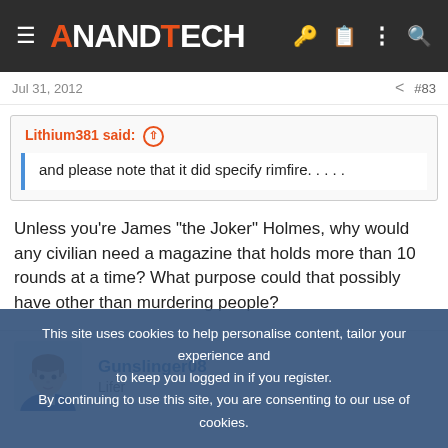AnandTech
Jul 31, 2012   #83
Lithium381 said: ↑
and please note that it did specify rimfire. . . . .
Unless you're James "the Joker" Holmes, why would any civilian need a magazine that holds more than 10 rounds at a time? What purpose could that possibly have other than murdering people?
Gunslinger08
Lifer
This site uses cookies to help personalise content, tailor your experience and to keep you logged in if you register.
By continuing to use this site, you are consenting to our use of cookies.